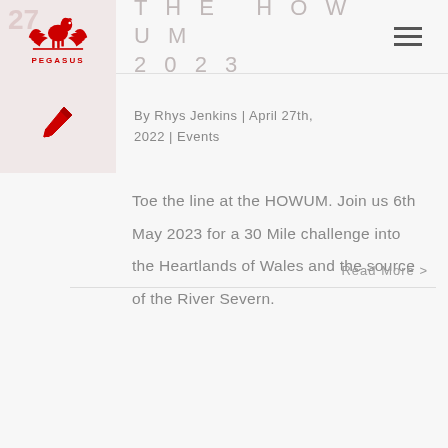[Figure (logo): Pegasus running club logo: red winged horse with text PEGASUS below, number 27 watermark behind]
THE HOWUM 2023
[Figure (illustration): Red fountain pen / quill icon on pale pink background]
By Rhys Jenkins | April 27th, 2022 | Events
Toe the line at the HOWUM. Join us 6th May 2023 for a 30 Mile challenge into the Heartlands of Wales and the source of the River Severn.
Read More >